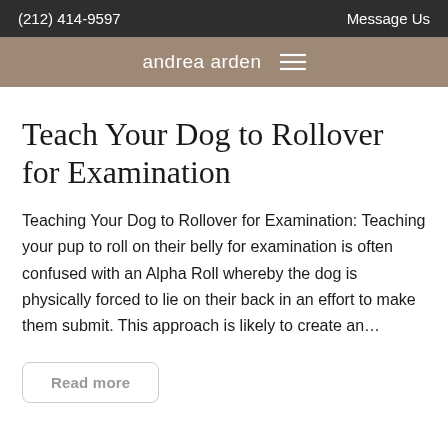(212) 414-9597    Message Us
andrea arden
Teach Your Dog to Rollover for Examination
Teaching Your Dog to Rollover for Examination: Teaching your pup to roll on their belly for examination is often confused with an Alpha Roll whereby the dog is physically forced to lie on their back in an effort to make them submit. This approach is likely to create an…
Read more